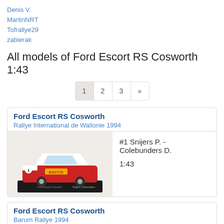Denis V.
MartinNRT
Tofrallye29
zabierak
All models of Ford Escort RS Cosworth 1:43
Ford Escort RS Cosworth
Rallye International de Wallonie 1994
[Figure (photo): Die-cast model of Ford Escort RS Cosworth #1 with Bastos livery, red and white, on a black display base]
#1 Snijers P. - Colebunders D.
1:43
Ford Escort RS Cosworth
Barum Rallye 1994
#1 Snijers P. - Colebunders D.